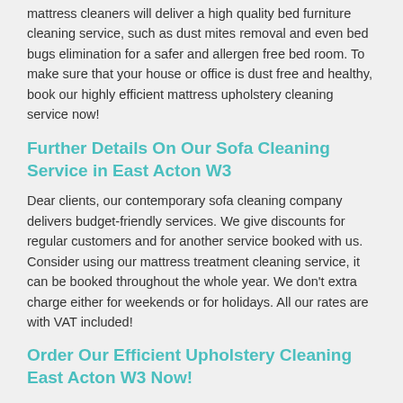mattress cleaners will deliver a high quality bed furniture cleaning service, such as dust mites removal and even bed bugs elimination for a safer and allergen free bed room. To make sure that your house or office is dust free and healthy, book our highly efficient mattress upholstery cleaning service now!
Further Details On Our Sofa Cleaning Service in East Acton W3
Dear clients, our contemporary sofa cleaning company delivers budget-friendly services. We give discounts for regular customers and for another service booked with us. Consider using our mattress treatment cleaning service, it can be booked throughout the whole year. We don't extra charge either for weekends or for holidays. All our rates are with VAT included!
Order Our Efficient Upholstery Cleaning East Acton W3 Now!
To build the task of reserving easier and achievable at all